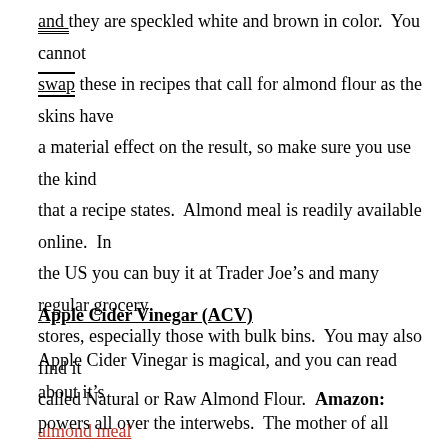and they are speckled white and brown in color.  You cannot swap these in recipes that call for almond flour as the skins have a material effect on the result, so make sure you use the kind that a recipe states.  Almond meal is readily available online.  In the US you can buy it at Trader Joe’s and many regular grocery stores, especially those with bulk bins.  You may also find it called Natural or Raw Almond Flour.  Amazon: almond meal
Apple Cider Vinegar (ACV)
Apple Cider Vinegar is magical, and you can read about it’s powers all over the interwebs.  The mother of all ACVs (hands up if you get the pun!) is Bragg’s, and it’s what I use.  Amazon: